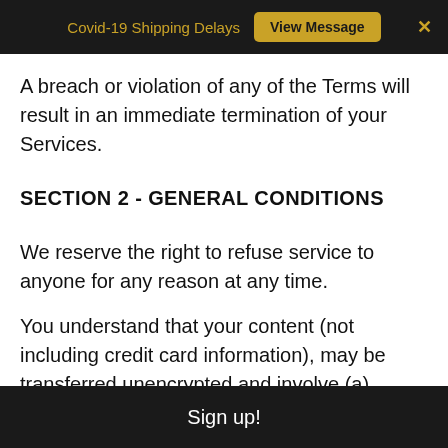Covid-19 Shipping Delays  View Message  ×
A breach or violation of any of the Terms will result in an immediate termination of your Services.
SECTION 2 - GENERAL CONDITIONS
We reserve the right to refuse service to anyone for any reason at any time.
You understand that your content (not including credit card information), may be transferred unencrypted and involve (a) transmissions over various networks; and (b) changes to conform and adapt to technical
Sign up!